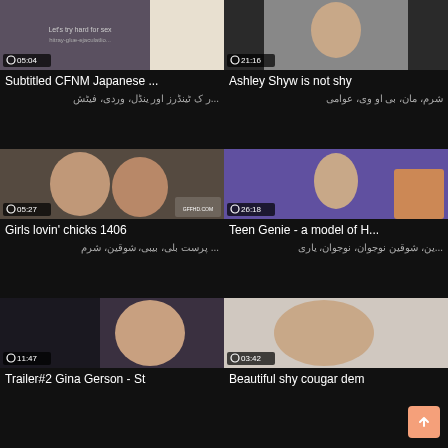[Figure (screenshot): Video thumbnail for Subtitled CFNM Japanese, duration 05:04]
Subtitled CFNM Japanese ...
...ر ک ٹینڈرز اور  ینڈل، وردی، فیٹش
[Figure (screenshot): Video thumbnail for Ashley Shyw is not shy, duration 21:16]
Ashley Shyw is not shy
شرم، مان، بی او وی، عوامی
[Figure (screenshot): Video thumbnail for Girls lovin chicks 1406, duration 05:27]
Girls lovin' chicks 1406
... پرست بلی، بیبی، شوقین، شرم
[Figure (screenshot): Video thumbnail for Teen Genie - a model of H..., duration 26:18]
Teen Genie - a model of H...
...ین، شوقین نوجوان، نوجوان، یاری
[Figure (screenshot): Video thumbnail for Trailer#2 Gina Gerson - St, duration 11:47]
Trailer#2 Gina Gerson - St
[Figure (screenshot): Video thumbnail for Beautiful shy cougar dem, duration 03:42]
Beautiful shy cougar dem